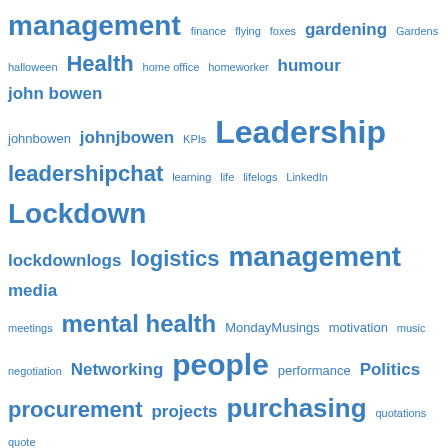[Figure (infographic): Tag cloud / word cloud with terms related to management, leadership, logistics, purchasing, and other topics. Terms vary in font size indicating frequency/importance. All text is in blue on white background. Words include: management, finance, flying, foxes, gardening, Gardens, halloween, Health, home office, homeworker, humour, john bowen, johnbowen, johnjbowen, KPIs, Leadership, leadershipchat, learning, life, lifelogs, LinkedIn, Lockdown, lockdownlogs, logistics, management, media, meetings, mental health, MondayMusings, motivation, music, negotiation, Networking, people, performance, Politics, procurement, projects, purchasing, quotations, quote, railways, risk management, sales, Sheds, Shopping, social media, suburban, walker, supply chain, swindon, teaching, team, building (partial)]